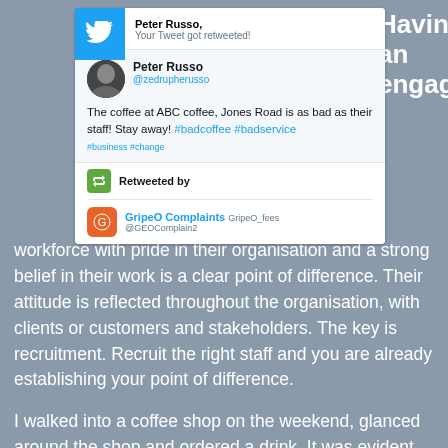[Figure (screenshot): Twitter notification screenshot showing Peter Russo's tweet about ABC coffee on Jones Road being bad, with a retweet notification, retweeted by GripeO Complaints]
Having an engaged
workforce with pride in their organisation and a strong belief in their work is a clear point of difference. Their attitude is reflected throughout the organisation, with clients or customers and stakeholders. The key is recruitment. Recruit the right staff and you are already establishing your point of difference.
I walked into a coffee shop on the weekend, glanced around the shop and ordered a drink. It was evident the staff working there did not know the products on offer or care about customer service. Their expressions told a